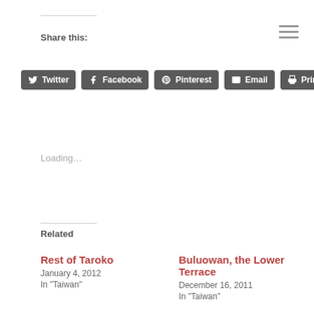Share this:
Twitter  Facebook  Pinterest  Email  Print
Loading…
Related
Rest of Taroko
January 4, 2012
In "Taiwan"
Buluowan, the Lower Terrace
December 16, 2011
In "Taiwan"
"Why Taiwan?"
November 30, 2011
In "Taipei"
adventure
cultural
eco tourism
photo ops